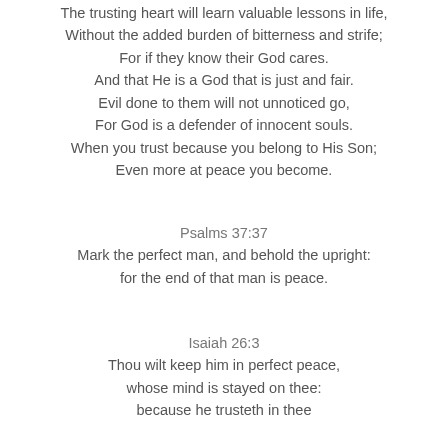The trusting heart will learn valuable lessons in life,
Without the added burden of bitterness and strife;
For if they know their God cares.
And that He is a God that is just and fair.
Evil done to them will not unnoticed go,
For God is a defender of innocent souls.
When you trust because you belong to His Son;
Even more at peace you become.
Psalms 37:37
Mark the perfect man, and behold the upright:
for the end of that man is peace.
Isaiah 26:3
Thou wilt keep him in perfect peace,
whose mind is stayed on thee:
because he trusteth in thee